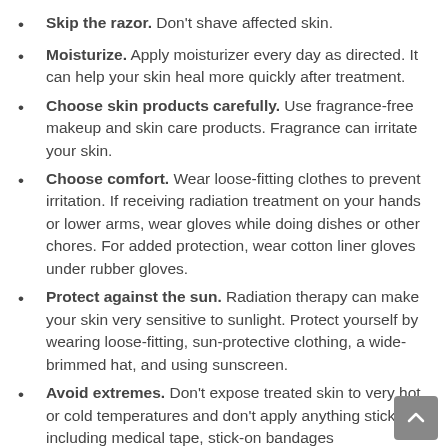Skip the razor. Don't shave affected skin.
Moisturize. Apply moisturizer every day as directed. It can help your skin heal more quickly after treatment.
Choose skin products carefully. Use fragrance-free makeup and skin care products. Fragrance can irritate your skin.
Choose comfort. Wear loose-fitting clothes to prevent irritation. If receiving radiation treatment on your hands or lower arms, wear gloves while doing dishes or other chores. For added protection, wear cotton liner gloves under rubber gloves.
Protect against the sun. Radiation therapy can make your skin very sensitive to sunlight. Protect yourself by wearing loose-fitting, sun-protective clothing, a wide-brimmed hat, and using sunscreen.
Avoid extremes. Don't expose treated skin to very hot or cold temperatures and don't apply anything sticky -- including medical tape, stick-on bandages